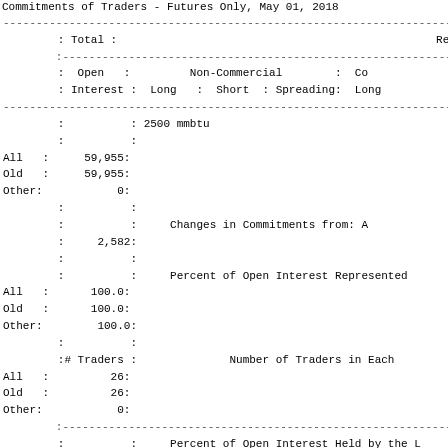Commitments of Traders - Futures Only, May 01, 2018
|  | Total : Open Interest | Non-Commercial Long | Non-Commercial Short | Non-Commercial Spreading | Commercial Long |
| --- | --- | --- | --- | --- | --- |
|  | 2500 mmbtu |  |  |  |  |
| All | 59,955: | 0 | 0 | 0 | 56, |
| Old | 59,955: | 0 | 0 | 0 | 56, |
| Other: | 0: | 0 | 0 | 0 |  |
|  |  | Changes in Commitments from: A |  |  |  |
|  | 2,582: | 0 | 0 | 0 | 2, |
|  |  | Percent of Open Interest Represented |  |  |  |
| All | 100.0: | 0.0 | 0.0 | 0.0 | 9 |
| Old | 100.0: | 0.0 | 0.0 | 0.0 | 9 |
| Other: | 100.0: | 0.0 | 0.0 | 0.0 |  |
| # Traders |  | Number of Traders in Each |  |  |  |
| All | 26: | 0 | 0 | 0 |  |
| Old | 26: | 0 | 0 | 0 |  |
| Other: | 0: | 0 | 0 | 0 |  |
|  |  | Percent of Open Interest Held by the L |  |  |  |
|  |  | By Gross Position |  |  |  |
|  |  | 4 or Less Traders | 8 or Less Trad |  |  |
|  |  | Long: | Short | Long | Sh |